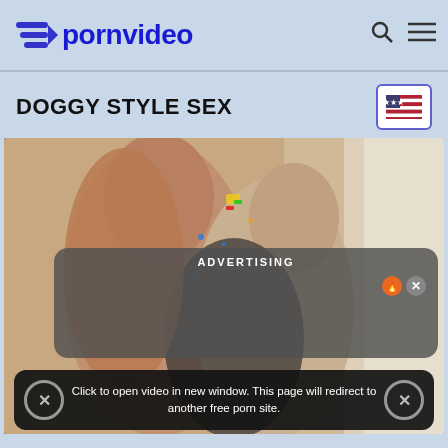pornvideo
DOGGY STYLE SEX
[Figure (screenshot): Video thumbnail showing two people in an intimate embrace, with an advertising overlay popup and a redirect warning bar at the bottom reading 'Click to open video in new window. This page will redirect to another free porn site.']